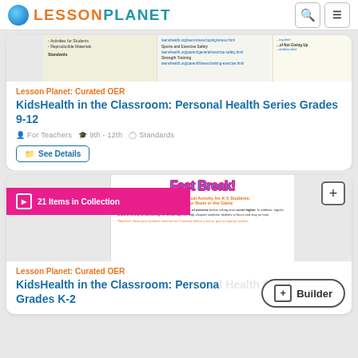LESSON PLANET
[Figure (screenshot): Preview image of KidsHealth in the Classroom document showing Activities for Students, Reproducible Materials, and standards links]
Lesson Planet: Curated OER
KidsHealth in the Classroom: Personal Health Series Grades 9-12
For Teachers  9th - 12th  Standards
See Details
[Figure (screenshot): Fast Break! Classroom Physical Activity for K-5 Students: Keep Your Brain in the Game document preview with pink collection banner showing 21 Items in Collection]
Lesson Planet: Curated OER
KidsHealth in the Classroom: Personal Health Series Grades K-2